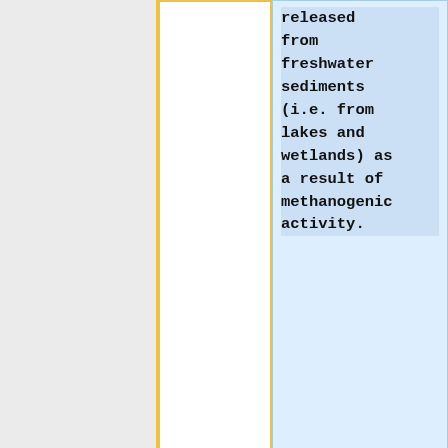released from freshwater sediments (i.e. from lakes and wetlands) as a result of methanogenic activity.
<br>At right is a sample image insertion. It works for any image uploaded anywhere to MicrobeWiki. The insertion